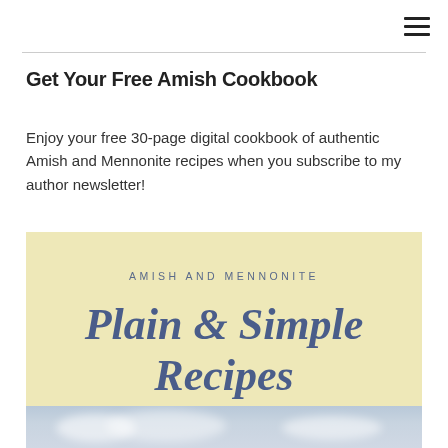☰
Get Your Free Amish Cookbook
Enjoy your free 30-page digital cookbook of authentic Amish and Mennonite recipes when you subscribe to my author newsletter!
[Figure (illustration): Book cover with light yellow background. Text reads 'AMISH AND MENNONITE' in small spaced letters above large bold italic serif text 'Plain & Simple Recipes' in slate blue, with a sky/clouds strip at the bottom.]